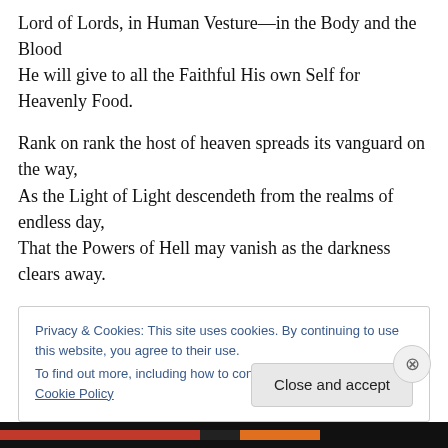Lord of Lords, in Human Vesture—in the Body and the Blood
He will give to all the Faithful His own Self for Heavenly Food.
Rank on rank the host of heaven spreads its vanguard on the way,
As the Light of Light descendeth from the realms of endless day,
That the Powers of Hell may vanish as the darkness clears away.
Privacy & Cookies: This site uses cookies. By continuing to use this website, you agree to their use.
To find out more, including how to control cookies, see here: Cookie Policy
Close and accept